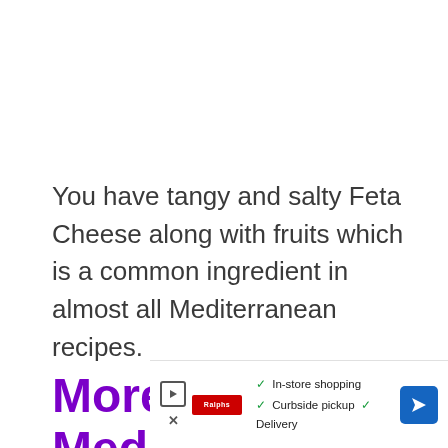You have tangy and salty Feta Cheese along with fruits which is a common ingredient in almost all Mediterranean recipes.
More Mediterranean rec…
[Figure (screenshot): Advertisement banner showing a store with in-store shopping, curbside pickup, and delivery options, with a navigation/directions icon.]